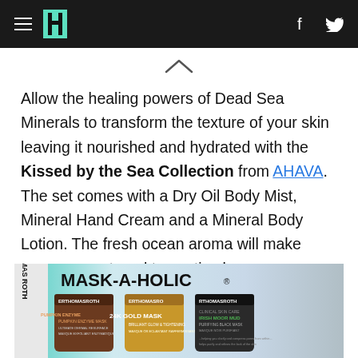HuffPost navigation bar with hamburger menu, logo, Facebook and Twitter icons
Allow the healing powers of Dead Sea Minerals to transform the texture of your skin leaving it nourished and hydrated with the Kissed by the Sea Collection from AHAVA. The set comes with a Dry Oil Body Mist, Mineral Hand Cream and a Mineral Body Lotion. The fresh ocean aroma will make your senses travel to exotic places.
[Figure (photo): Peter Thomas Roth MASK-A-HOLIC product set showing three jars: Pumpkin Enzyme Mask, 24K Gold Mask, and Irish Moor Mud Purifying Black Mask]